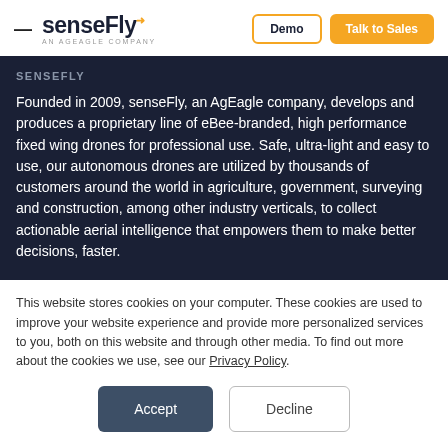[Figure (logo): senseFly logo — stylized text with yellow accent mark, subtitle 'AN AGEAGLE COMPANY']
Demo
Talk to Sales
SENSEFLY
Founded in 2009, senseFly, an AgEagle company, develops and produces a proprietary line of eBee-branded, high performance fixed wing drones for professional use. Safe, ultra-light and easy to use, our autonomous drones are utilized by thousands of customers around the world in agriculture, government, surveying and construction, among other industry verticals, to collect actionable aerial intelligence that empowers them to make better decisions, faster.
This website stores cookies on your computer. These cookies are used to improve your website experience and provide more personalized services to you, both on this website and through other media. To find out more about the cookies we use, see our Privacy Policy.
Accept
Decline